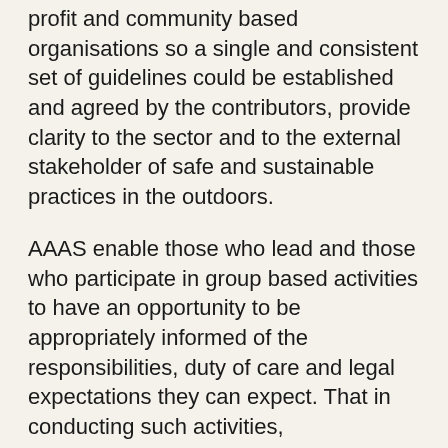profit and community based organisations so a single and consistent set of guidelines could be established and agreed by the contributors, provide clarity to the sector and to the external stakeholder of safe and sustainable practices in the outdoors.
AAAS enable those who lead and those who participate in group based activities to have an opportunity to be appropriately informed of the responsibilities, duty of care and legal expectations they can expect. That in conducting such activities, organisations and leaders know what is expected of them and as such, help to ensure that the appropriate duty of care for self, others and the environment is provided.
The current activity standards were designed to be adaptable, so that they can be developed further as requirements change. Due to the differing regulations, compliance, health & safety